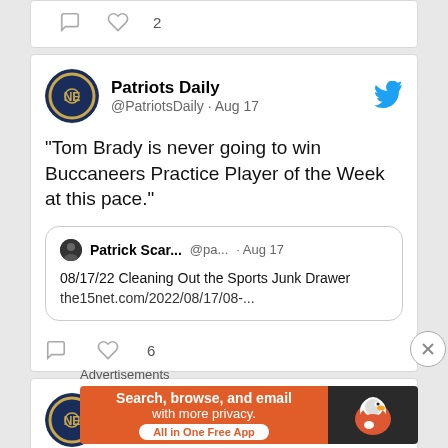[Figure (screenshot): Top partial tweet card showing comment and heart icons with count 2]
[Figure (screenshot): Patriots Daily tweet card with avatar, handle @PatriotsDaily, Aug 17, tweet text about Tom Brady, quoted tweet from Patrick Scar... about 08/17/22 Cleaning Out the Sports Junk Drawer, and action icons with 6 likes]
[Figure (screenshot): Bottom partial Patriots Daily tweet card showing avatar and account name]
Advertisements
[Figure (screenshot): DuckDuckGo advertisement banner: Search, browse, and email with more privacy. All in One Free App]